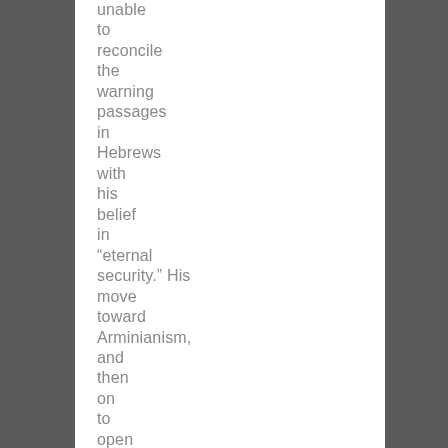unable to reconcile the warning passages in Hebrews with his belief in “eternal security.” His move toward Arminianism, and then on to open